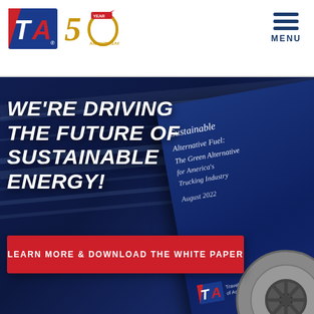[Figure (logo): TravelCenters of America (TA) logo with blue and red design, alongside 50th Anniversary badge in gold]
[Figure (illustration): Navigation menu icon with three horizontal blue lines and MENU text]
[Figure (photo): Dark blue background with light streaks and a tilted report booklet cover showing 'Sustainable Fuel: The Green Alternative for America's Trucking Industry, August 2022' and TA logo, with a truck wheel visible at bottom right]
WE'RE DRIVING THE FUTURE OF SUSTAINABLE ENERGY!
LEARN MORE & DOWNLOAD THE WHITE PAPER